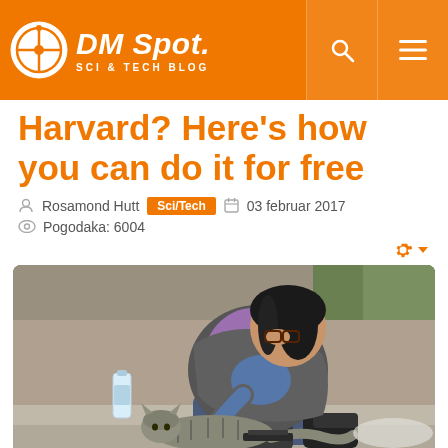DM Spot. SCI & TECH BLOG
Harvard? Here's how you can do it for free
Rosamond Hutt  Sci/Tech  03 februar 2017
Pogodaka: 6004
[Figure (photo): A young woman with dark hair, purple hoodie and glasses sitting on steps, petting a striped tabby cat lying across her lap. A water bottle and red bowl are nearby on the ground.]